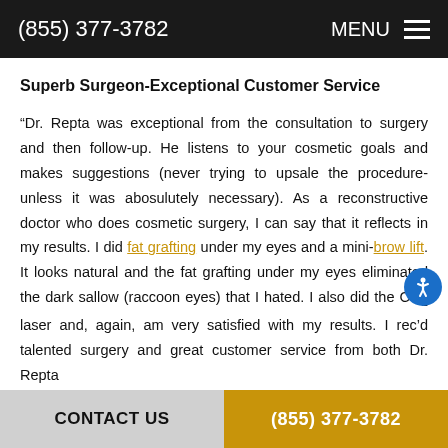(855) 377-3782   MENU
Superb Surgeon-Exceptional Customer Service
“Dr. Repta was exceptional from the consultation to surgery and then follow-up. He listens to your cosmetic goals and makes suggestions (never trying to upsale the procedure-unless it was abosulutely necessary). As a reconstructive doctor who does cosmetic surgery, I can say that it reflects in my results. I did fat grafting under my eyes and a mini-brow lift. It looks natural and the fat grafting under my eyes eliminated the dark sallow (raccoon eyes) that I hated. I also did the CO2 laser and, again, am very satisfied with my results. I rec’d talented surgery and great customer service from both Dr. Repta
CONTACT US   (855) 377-3782